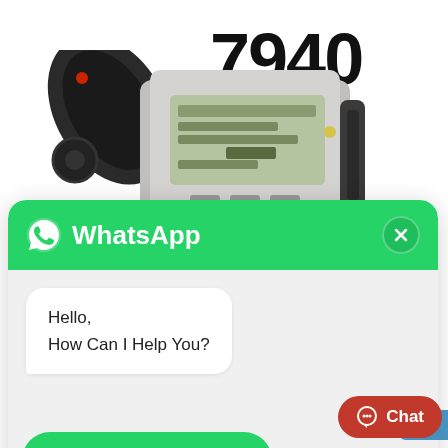[Figure (photo): Cisco IP phone model 7940 shown at an angle from above, silver and black desk phone with display screen, with the number 7940 in large bold text above it]
[Figure (screenshot): WhatsApp chat widget popup with green header showing WhatsApp logo and name, a close X button, a message bubble saying 'Hello, How Can I Help You?', a green 'Chat in Whatsapp' CTA button, and a red 'Chat' button at bottom right]